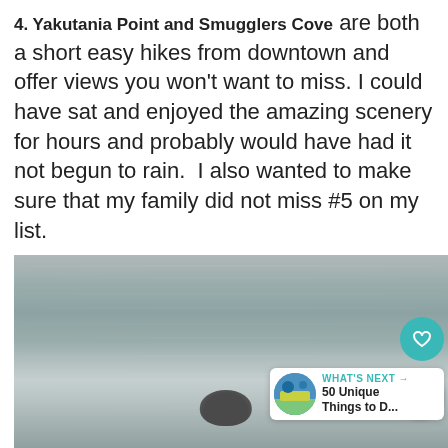4. Yakutania Point and Smugglers Cove are both a short easy hikes from downtown and offer views you won't want to miss. I could have sat and enjoyed the amazing scenery for hours and probably would have had it not begun to rain.  I also wanted to make sure that my family did not miss #5 on my list.
[Figure (photo): A seal's head visible above calm grey water surface, with a 'What's Next' overlay panel in the bottom right showing '50 Unique Things to D...' and social sharing buttons (heart and share icons) on the right side.]